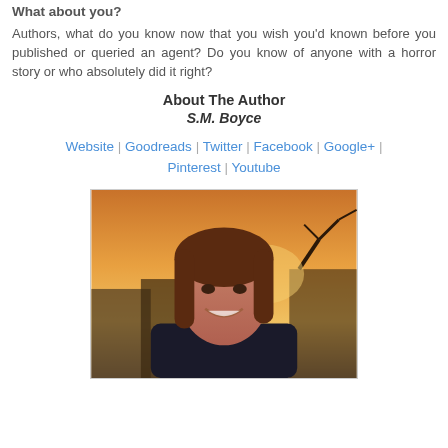What about you?
Authors, what do you know now that you wish you'd known before you published or queried an agent? Do you know of anyone with a horror story or who absolutely did it right?
About The Author
S.M. Boyce
Website | Goodreads | Twitter | Facebook | Google+ | Pinterest | Youtube
[Figure (photo): Portrait photo of S.M. Boyce, a young woman with long brown hair, smiling, with a sunset and trees in the background.]